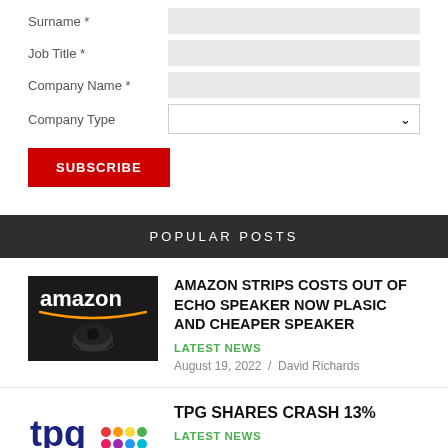Surname *
Job Title *
Company Name *
Company Type
SUBSCRIBE
POPULAR POSTS
[Figure (photo): Amazon Echo speaker product photo with amazon logo]
AMAZON STRIPS COSTS OUT OF ECHO SPEAKER NOW PLASIC AND CHEAPER SPEAKER
LATEST NEWS
August 19, 2022 / David Richards
[Figure (logo): TPG Telecom logo]
TPG SHARES CRASH 13%
LATEST NEWS